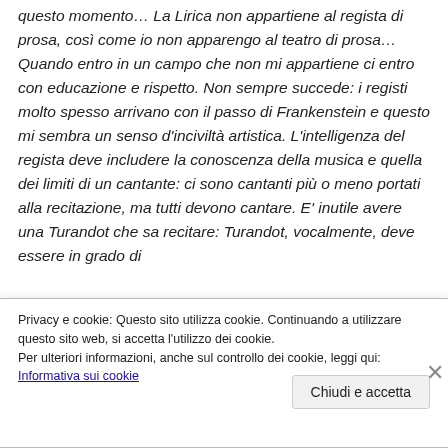questo momento… La Lirica non appartiene al regista di prosa, così come io non apparengo al teatro di prosa… Quando entro in un campo che non mi appartiene ci entro con educazione e rispetto. Non sempre succede: i registi molto spesso arrivano con il passo di Frankenstein e questo mi sembra un senso d'inciviltà artistica. L'intelligenza del regista deve includere la conoscenza della musica e quella dei limiti di un cantante: ci sono cantanti più o meno portati alla recitazione, ma tutti devono cantare. E' inutile avere una Turandot che sa recitare: Turandot, vocalmente, deve essere in grado di
Privacy e cookie: Questo sito utilizza cookie. Continuando a utilizzare questo sito web, si accetta l'utilizzo dei cookie. Per ulteriori informazioni, anche sul controllo dei cookie, leggi qui: Informativa sui cookie